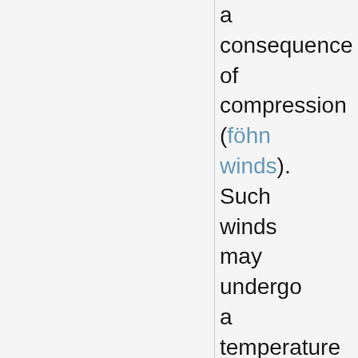a consequence of compression (föhn winds). Such winds may undergo a temperature increase of 20°C or